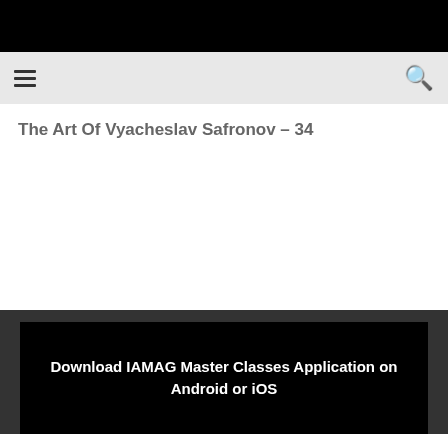The Art Of Vyacheslav Safronov – 34
[Figure (screenshot): Video player block with text: Download IAMAG Master Classes Application on Android or iOS]